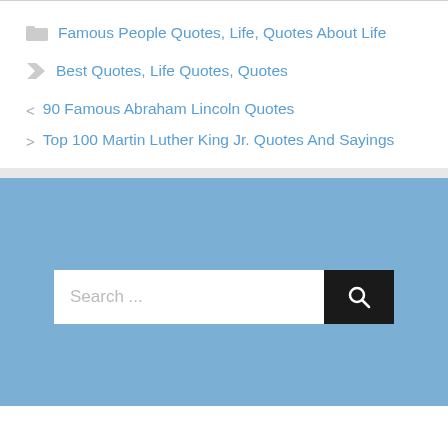Famous People Quotes, Life, Quotes About Life
Best Quotes, Life Quotes, Quotes
90 Famous Abraham Lincoln Quotes
Top 100 Martin Luther King Jr. Quotes And Sayings
[Figure (screenshot): Search bar with text input field showing 'Search ...' placeholder and a dark search button with magnifying glass icon, on a blue background]